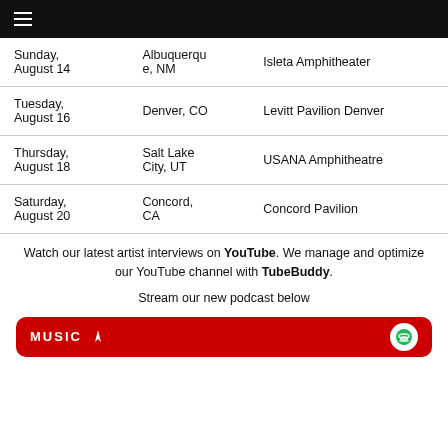≡
| Date | City | Venue |
| --- | --- | --- |
| Sunday, August 14 | Albuquerque, NM | Isleta Amphitheater |
| Tuesday, August 16 | Denver, CO | Levitt Pavilion Denver |
| Thursday, August 18 | Salt Lake City, UT | USANA Amphitheatre |
| Saturday, August 20 | Concord, CA | Concord Pavilion |
Watch our latest artist interviews on YouTube. We manage and optimize our YouTube channel with TuBuddy.
Stream our new podcast below
[Figure (other): Red rounded rectangle banner with MUSIC text and Spotify icon]